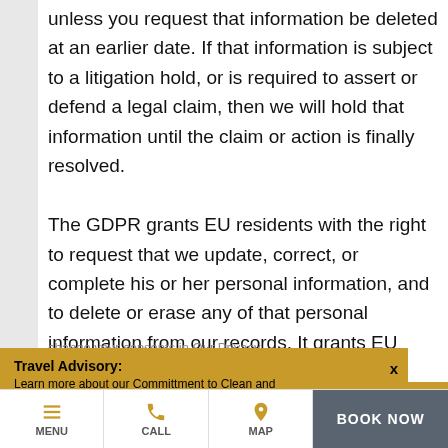unless you request that information be deleted at an earlier date. If that information is subject to a litigation hold, or is required to assert or defend a legal claim, then we will hold that information until the claim or action is finally resolved.
The GDPR grants EU residents with the right to request that we update, correct, or complete his or her personal information, and to delete or erase any of that personal information from our records. It grants EU
change your consents in Our Privacy
Travel Advisory: Learn more about our Committment to Clean and COVID-19 policies. Read More
MENU  CALL  MAP  BOOK NOW